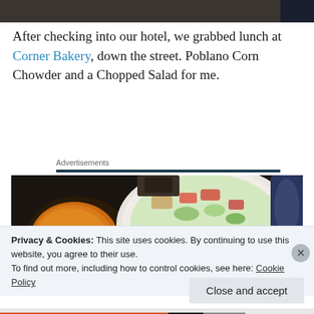[Figure (photo): Top portion of a food/travel blog photo, dark/shadowed image at the very top of the page]
After checking into our hotel, we grabbed lunch at Corner Bakery, down the street. Poblano Corn Chowder and a Chopped Salad for me.
Advertisements
[Figure (photo): Food photo showing a bowl of orange/yellow soup (Poblano Corn Chowder) on the left and a plate of Chopped Salad on the right, on a dark table]
Privacy & Cookies: This site uses cookies. By continuing to use this website, you agree to their use.
To find out more, including how to control cookies, see here: Cookie Policy
Close and accept